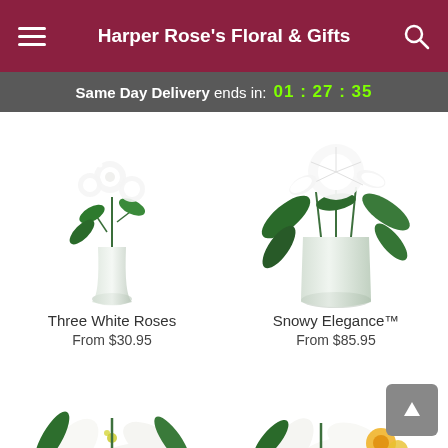Harper Rose's Floral & Gifts
Same Day Delivery ends in: 01 : 27 : 35
[Figure (photo): Three white roses in a slim glass bud vase with greenery]
Three White Roses
From $30.95
[Figure (photo): Snowy Elegance arrangement with white chrysanthemums, lilies and mixed white flowers in a clear glass vase]
Snowy Elegance™
From $85.95
[Figure (photo): White lily arrangement, partially visible at bottom left]
[Figure (photo): White lily and mixed flower arrangement, partially visible at bottom right]